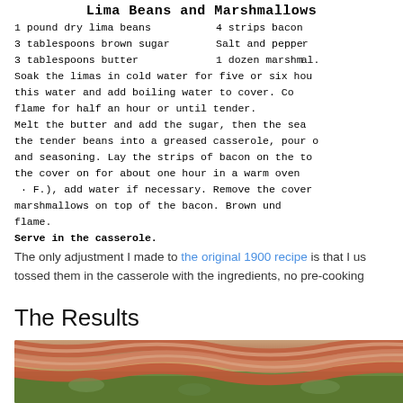Lima Beans and Marshmallows
1 pound dry lima beans
4 strips bacon
3 tablespoons brown sugar
Salt and pepper
3 tablespoons butter
1 dozen marshmallows
Soak the limas in cold water for five or six hours (or overnight). Drain this water and add boiling water to cover. Cook over a low flame for half an hour or until tender. Melt the butter and add the sugar, then the seasoning. Put the tender beans into a greased casserole, pour over the butter and seasoning. Lay the strips of bacon on the top and bake with the cover on for about one hour in a warm oven (300 degrees F.), add water if necessary. Remove the cover and place the marshmallows on top of the bacon. Brown under a gas or electric flame. Serve in the casserole.
The only adjustment I made to the original 1900 recipe is that I used canned lima beans and tossed them in the casserole with the ingredients, no pre-cooking needed.
The Results
[Figure (photo): Close-up photo of bacon strips laid over green vegetables in a casserole dish]